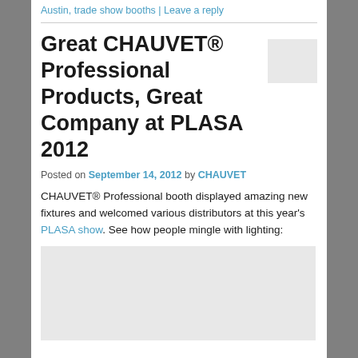Austin, trade show booths | Leave a reply
Great CHAUVET® Professional Products, Great Company at PLASA 2012
Posted on September 14, 2012 by CHAUVET
CHAUVET® Professional booth displayed amazing new fixtures and welcomed various distributors at this year's PLASA show. See how people mingle with lighting:
[Figure (photo): Placeholder image for PLASA 2012 event photo]